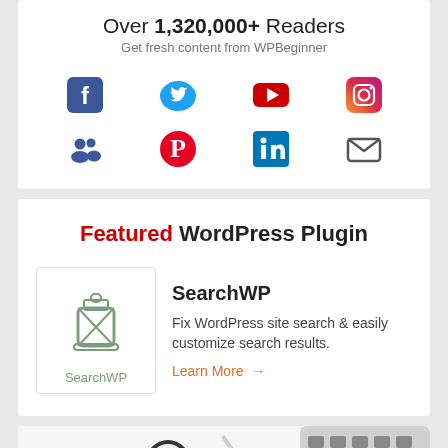Over 1,320,000+ Readers
Get fresh content from WPBeginner
[Figure (infographic): Social media icons grid: Facebook, Twitter, YouTube, Instagram (top row); Groups/Users, Pinterest, LinkedIn, Email (bottom row)]
Featured WordPress Plugin
[Figure (logo): SearchWP plugin logo: a lantern icon with SearchWP text below]
SearchWP
Fix WordPress site search & easily customize search results.
Learn More →
[Figure (photo): Partial bottom image showing 'How to' text in cursive with coffee cup, earphones, and laptop keyboard in background]